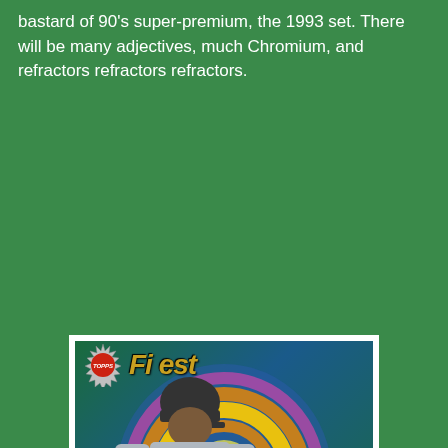bastard of 90's super-premium, the 1993 set. There will be many adjectives, much Chromium, and refractors refractors refractors.
[Figure (photo): 1993 Topps Finest baseball card featuring Ken Griffey Jr. in a Seattle Mariners uniform, with holographic rainbow swirl background. The card shows the Topps Finest logo at top and a gold banner at the bottom reading 'Ken Griffey Jr.' in red italic script.]